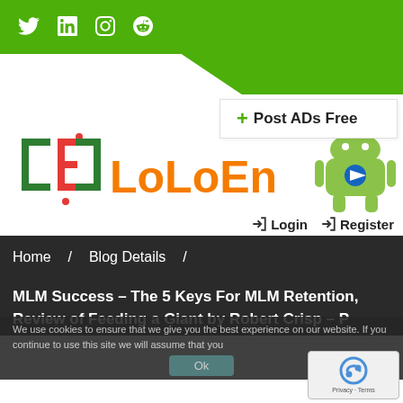Social icons: Twitter, LinkedIn, Pinterest, Instagram, Reddit
[Figure (logo): LoLoEn logo with green and orange text]
[Figure (illustration): Android robot mascot with Play Store icon]
+ Post ADs Free
Login   Register
Home / Blog Details /
MLM Success – The 5 Keys For MLM Retention, Review of Feeding a Giant by Robert Crisp – P
We use cookies to ensure that we give you the best experience on our website. If you continue to use this site we will assume that you
Ok
[Figure (other): reCAPTCHA widget with Privacy and Terms links]